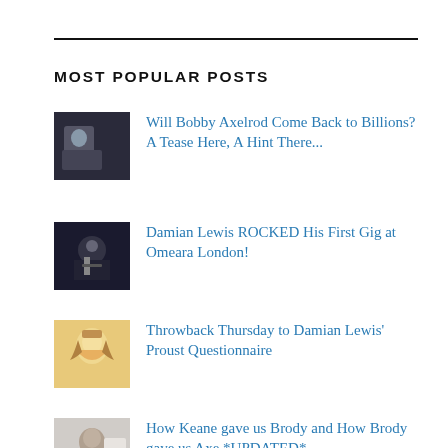MOST POPULAR POSTS
Will Bobby Axelrod Come Back to Billions? A Tease Here, A Hint There...
Damian Lewis ROCKED His First Gig at Omeara London!
Throwback Thursday to Damian Lewis' Proust Questionnaire
How Keane gave us Brody and How Brody gave us Axe *UPDATED*
Helen McCrory: Celebrating A Phenomenal Woman and Her Life